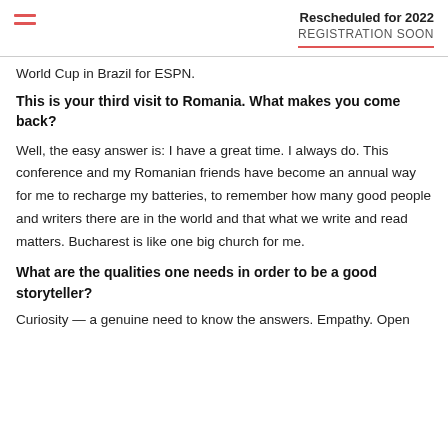Rescheduled for 2022
REGISTRATION SOON
World Cup in Brazil for ESPN.
This is your third visit to Romania. What makes you come back?
Well, the easy answer is: I have a great time. I always do. This conference and my Romanian friends have become an annual way for me to recharge my batteries, to remember how many good people and writers there are in the world and that what we write and read matters. Bucharest is like one big church for me.
What are the qualities one needs in order to be a good storyteller?
Curiosity — a genuine need to know the answers. Empathy. Open